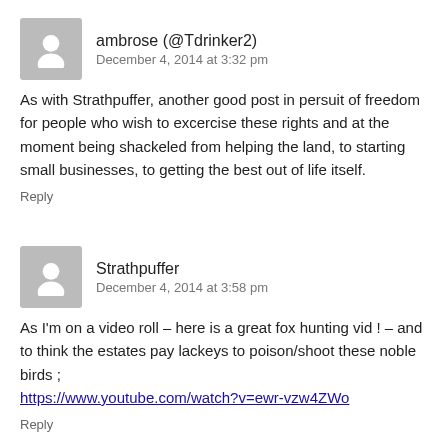[Figure (illustration): Grey placeholder avatar icon for user ambrose]
ambrose (@Tdrinker2)
December 4, 2014 at 3:32 pm
As with Strathpuffer, another good post in persuit of freedom for people who wish to excercise these rights and at the moment being shackeled from helping the land, to starting small businesses, to getting the best out of life itself.
Reply
[Figure (illustration): Grey placeholder avatar icon for user Strathpuffer]
Strathpuffer
December 4, 2014 at 3:58 pm
As I'm on a video roll – here is a great fox hunting vid ! – and to think the estates pay lackeys to poison/shoot these noble birds ;
https://www.youtube.com/watch?v=ewr-vzw4ZWo
Reply
[Figure (illustration): Grey placeholder avatar icon for user ambrose]
ambrose (@Tdrinker2)
December 4, 2014 at 4:20 pm